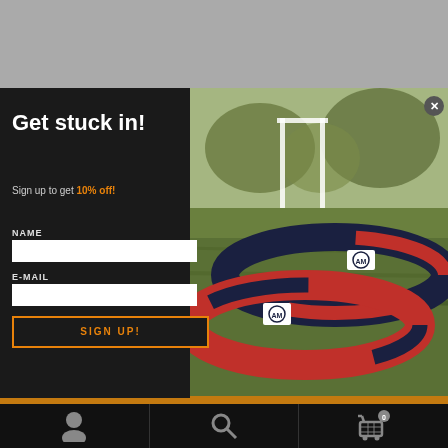[Figure (photo): Top gray banner area]
[Figure (photo): Popup modal with dark left panel and sports field photo background showing red and navy wristbands/bracelets on grass with goalpost in background]
Get stuck in!
Sign up to get 10% off!
NAME
E-MAIL
SIGN UP!
[Figure (other): Close button (X) in top right of modal]
Navigation bar with user icon, search icon, and shopping cart with 0 items